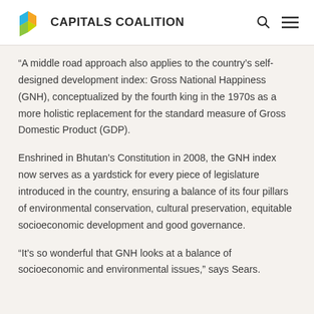CAPITALS COALITION
“A middle road approach also applies to the country’s self-designed development index: Gross National Happiness (GNH), conceptualized by the fourth king in the 1970s as a more holistic replacement for the standard measure of Gross Domestic Product (GDP).
Enshrined in Bhutan’s Constitution in 2008, the GNH index now serves as a yardstick for every piece of legislature introduced in the country, ensuring a balance of its four pillars of environmental conservation, cultural preservation, equitable socioeconomic development and good governance.
“It’s so wonderful that GNH looks at a balance of socioeconomic and environmental issues,” says Sears.